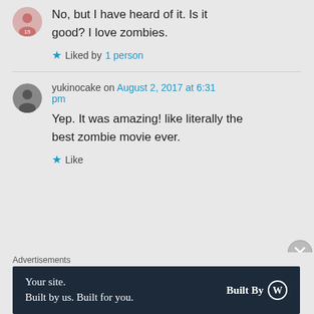No, but I have heard of it. Is it good? I love zombies.
★ Liked by 1 person
yukinocake on August 2, 2017 at 6:31 pm
Yep. It was amazing! like literally the best zombie movie ever.
★ Like
Advertisements
[Figure (screenshot): WordPress advertisement banner: 'Your site. Built by us. Built for you.' with Built By WordPress logo on dark navy background]